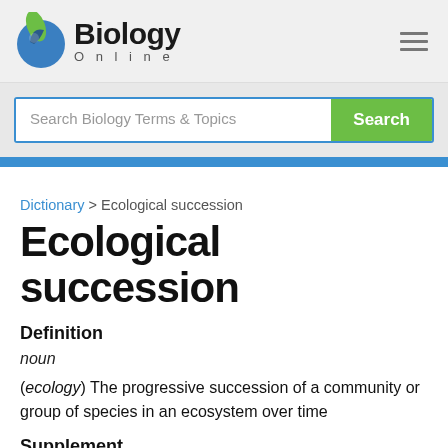[Figure (logo): Biology Online logo with blue/green swirl icon and bold 'Biology Online' text]
Search Biology Terms & Topics
Dictionary > Ecological succession
Ecological succession
Definition
noun
(ecology) The progressive succession of a community or group of species in an ecosystem over time
Supplement